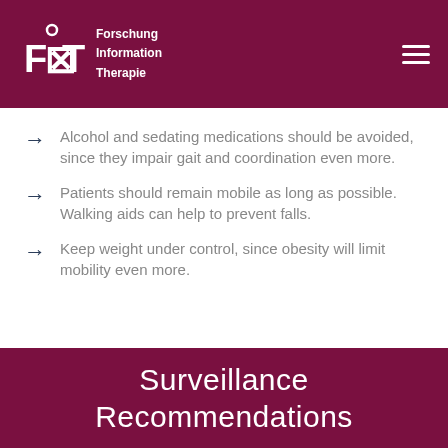FIT Forschung Information Therapie
Alcohol and sedating medications should be avoided, since they impair gait and coordination even more.
Patients should remain mobile as long as possible. Walking aids can help to prevent falls.
Keep weight under control, since obesity will limit mobility even more.
Surveillance Recommendations